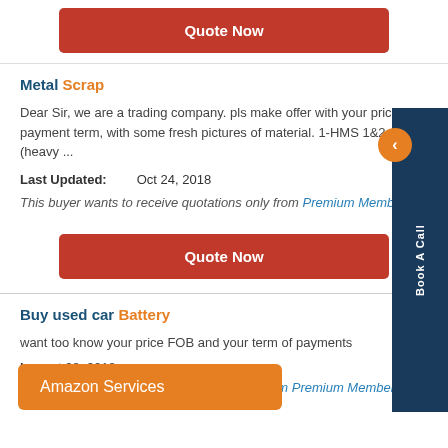[Figure (other): Quote Now button (red/dark red, rounded rectangle) at the top of the page]
Metal Scrap
Dear Sir, we are a trading company. pls make offer with your prices & payment term, with some fresh pictures of material. 1-HMS 1&2 (heavy ...
Last Updated: Oct 24, 2018
This buyer wants to receive quotations only from Premium Members .
[Figure (other): Quote Now button (red/dark red, rounded rectangle) in the middle of the page]
Buy used car Battery
want too know your price FOB and your term of payments
Last Updated: Oct 08, 2018
This buyer wants to receive quotations only from Premium Members .
[Figure (other): Amazon Services orange overlay banner at bottom left]